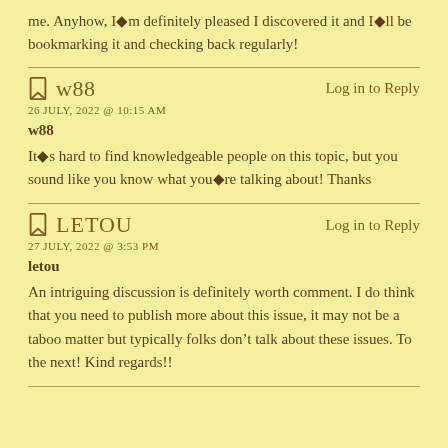me. Anyhow, I◆m definitely pleased I discovered it and I◆ll be bookmarking it and checking back regularly!
w88
26 JULY, 2022 @ 10:15 AM
w88
It◆s hard to find knowledgeable people on this topic, but you sound like you know what you◆re talking about! Thanks
LETOU
27 JULY, 2022 @ 3:53 PM
letou
An intriguing discussion is definitely worth comment. I do think that you need to publish more about this issue, it may not be a taboo matter but typically folks don’t talk about these issues. To the next! Kind regards!!